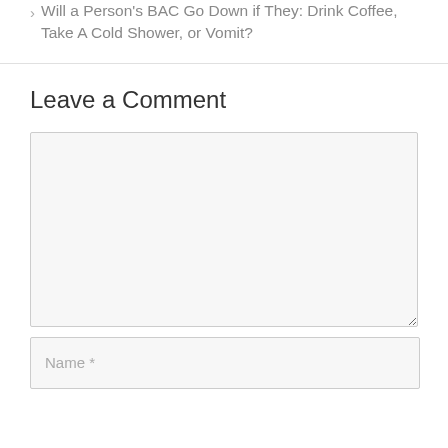Will a Person's BAC Go Down if They: Drink Coffee, Take A Cold Shower, or Vomit?
Leave a Comment
[Comment text area]
Name *